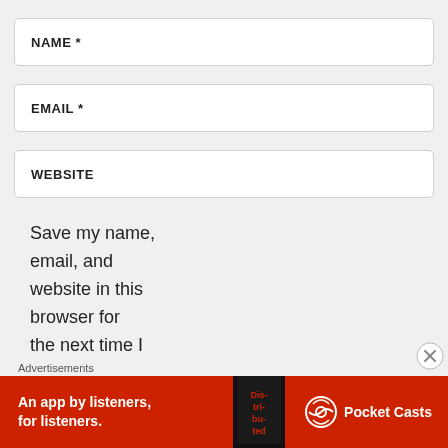NAME *
EMAIL *
WEBSITE
Save my name, email, and website in this browser for the next time I
Advertisements
[Figure (infographic): Pocket Casts advertisement banner: red background with white text 'An app by listeners, for listeners.' and Pocket Casts logo with phone graphic showing 'Distributed' text on screen.]